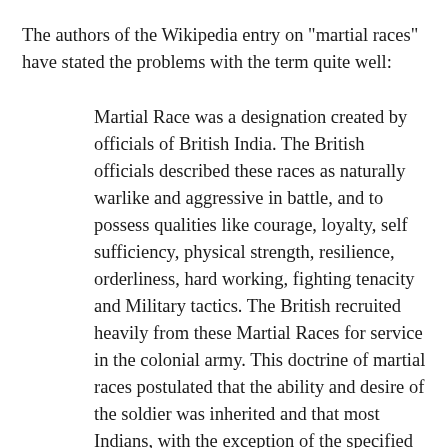The authors of the Wikipedia entry on "martial races" have stated the problems with the term quite well:
Martial Race was a designation created by officials of British India. The British officials described these races as naturally warlike and aggressive in battle, and to possess qualities like courage, loyalty, self sufficiency, physical strength, resilience, orderliness, hard working, fighting tenacity and Military tactics. The British recruited heavily from these Martial Races for service in the colonial army. This doctrine of martial races postulated that the ability and desire of the soldier was inherited and that most Indians, with the exception of the specified castes, did not have the requisite genes that would make them warriors. Critics of this theory state that the Indian rebellion of 1857 may have played a role in reinforcing the British belief in Martial races. During this event some Indian